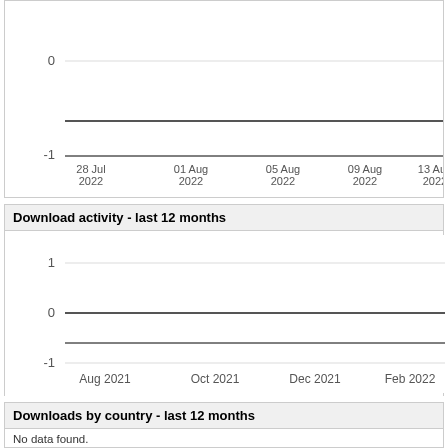[Figure (continuous-plot): Partial line chart (top cropped) showing download activity over last 3 weeks, x-axis: 28 Jul 2022, 01 Aug 2022, 05 Aug 2022, 09 Aug 2022, 13 Aug 2022. Y-axis values visible: 0, -1.]
Download activity - last 12 months
[Figure (continuous-plot): Line chart showing download activity over last 12 months. X-axis: Aug 2021, Oct 2021, Dec 2021, Feb 2022. Y-axis values: -1, 0, 1. Line is flat at 0.]
Downloads by country - last 12 months
No data found.